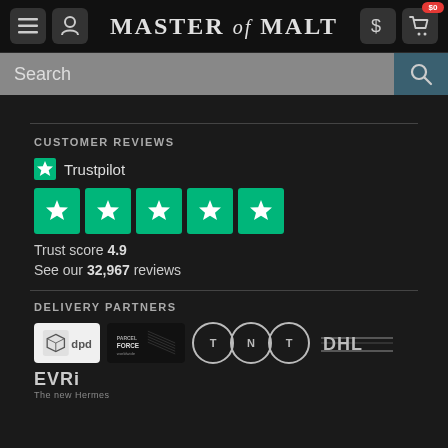MASTER of MALT
CUSTOMER REVIEWS
[Figure (logo): Trustpilot logo with green star and text 'Trustpilot']
[Figure (infographic): Five green star rating boxes from Trustpilot]
Trust score 4.9
See our 32,967 reviews
DELIVERY PARTNERS
[Figure (logo): Delivery partner logos: DPD, Parcel Force, TNT, DHL, EVRi (The new Hermes)]